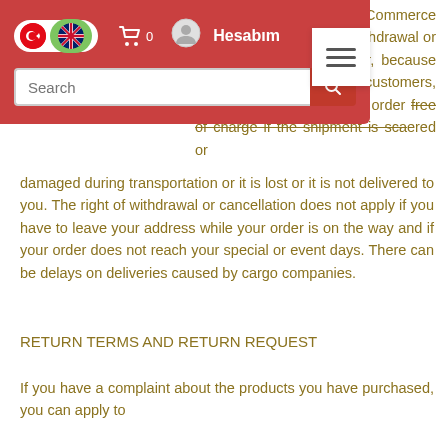[Figure (screenshot): E-commerce website navigation bar with Turkish/English language toggle, cart icon showing 0 items, user account icon labeled Hesabim, search input field, and hamburger menu icon. Red/pink background.]
...in accordance with Electronic Commerce Law, there is no right of withdrawal or cancellation for... However, because we care ...tion. ...valued customers, we refund or replace your order free of charge if the shipment is scattered or damaged during transportation or it is lost or it is not delivered to you. The right of withdrawal or cancellation does not apply if you have to leave your address while your order is on the way and if your order does not reach your special or event days. There can be delays on deliveries caused by cargo companies.
RETURN TERMS AND RETURN REQUEST
If you have a complaint about the products you have purchased, you can apply to